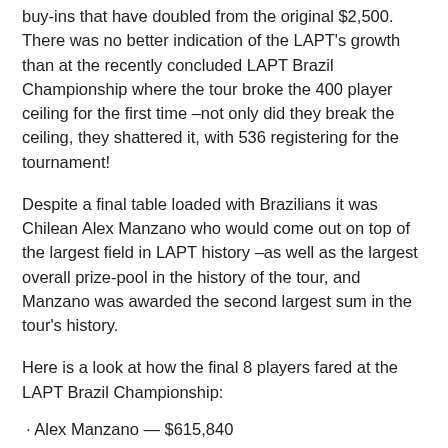buy-ins that have doubled from the original $2,500. There was no better indication of the LAPT's growth than at the recently concluded LAPT Brazil Championship where the tour broke the 400 player ceiling for the first time –not only did they break the ceiling, they shattered it, with 536 registering for the tournament!
Despite a final table loaded with Brazilians it was Chilean Alex Manzano who would come out on top of the largest field in LAPT history –as well as the largest overall prize-pool in the history of the tour, and Manzano was awarded the second largest sum in the tour's history.
Here is a look at how the final 8 players fared at the LAPT Brazil Championship:
· Alex Manzano — $615,840
· Joao Bauer — $352,760
· Marcelo Fonseca — $224,800
· Marcio Motta — $165,000
· Leandro Csome — $117,190
· Santiago Nadal — $93,270
· Henrique Bernardes — $69,350
· Bruno Politano — $45,440